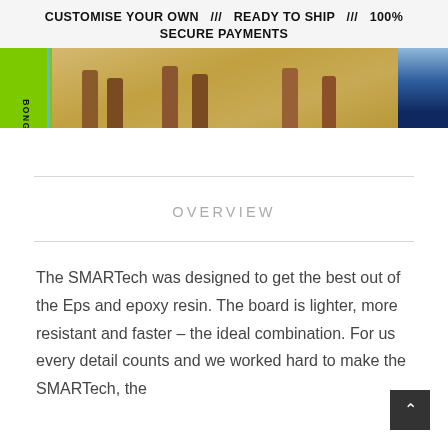CUSTOMISE YOUR OWN /// READY TO SHIP /// 100% SECURE PAYMENTS
[Figure (photo): Beach scene with people's legs visible, a green surfboard with 'BONG' text, blue leash, and sandy beach background with blue shorts visible on right edge.]
OVERVIEW
The SMARTech was designed to get the best out of the Eps and epoxy resin. The board is lighter, more resistant and faster – the ideal combination. For us every detail counts and we worked hard to make the SMARTech, the